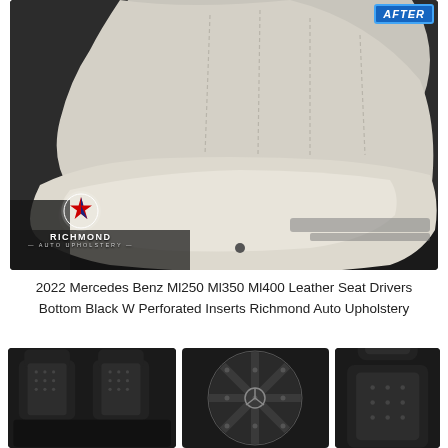[Figure (photo): Photo of a light gray/beige leather car seat interior showing the driver seat cushion and backrest with Richmond Auto Upholstery logo in the lower left. 'AFTER' badge visible in upper right corner.]
2022 Mercedes Benz Ml250 Ml350 Ml400 Leather Seat Drivers Bottom Black W Perforated Inserts Richmond Auto Upholstery
[Figure (photo): Three product photos showing black perforated leather car seat covers: left shows two headrests and seat back panels; center shows close-up of perforated diamond-stitch pattern leather in circular crop; right shows single seat back with headrest.]